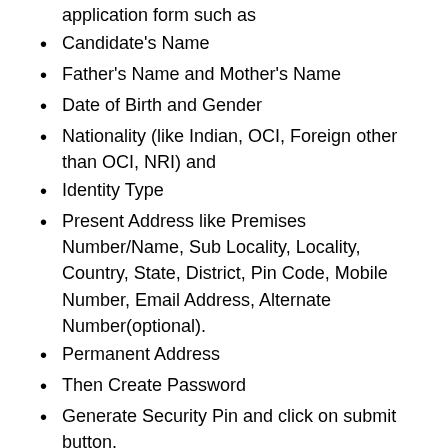application form such as
Candidate's Name
Father's Name and Mother's Name
Date of Birth and Gender
Nationality (like Indian, OCI, Foreign other than OCI, NRI) and
Identity Type
Present Address like Premises Number/Name, Sub Locality, Locality, Country, State, District, Pin Code, Mobile Number, Email Address, Alternate Number(optional).
Permanent Address
Then Create Password
Generate Security Pin and click on submit button.
Now new page appears with the Fee Payment option.